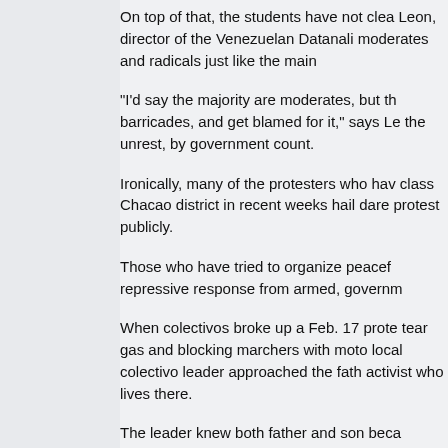On top of that, the students have not clea… Leon, director of the Venezuelan Datanali… moderates and radicals just like the main…
"I'd say the majority are moderates, but th… barricades, and get blamed for it," says Le… the unrest, by government count.
Ironically, many of the protesters who hav… class Chacao district in recent weeks hail… dare protest publicly.
Those who have tried to organize peacef… repressive response from armed, governm…
When colectivos broke up a Feb. 17 prote… tear gas and blocking marchers with moto… local colectivo leader approached the fath… activist who lives there.
The leader knew both father and son beca… summer camp that the colectivo runs.
"He showed my father a photo of me and… said Henriquez.